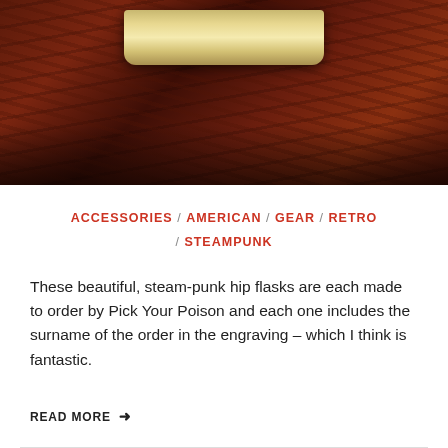[Figure (photo): A steam-punk hip flask with a golden/brass curved metal top, set against a dark reddish-brown wood grain background]
ACCESSORIES / AMERICAN / GEAR / RETRO / STEAMPUNK
These beautiful, steam-punk hip flasks are each made to order by Pick Your Poison and each one includes the surname of the order in the engraving – which I think is fantastic.
READ MORE ➜